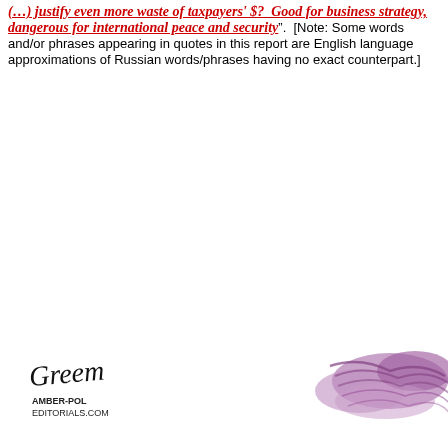(…) justify even more waste of taxpayers' $?  Good for business strategy, dangerous for international peace and security".  [Note: Some words and/or phrases appearing in quotes in this report are English language approximations of Russian words/phrases having no exact counterpart.]
[Figure (illustration): A political cartoon showing: upper left area has a handwritten signature/cartoonist credit reading 'Green' with additional text below it. Upper right shows a purple cloud or smoke. Lower right shows a hand/arm in a blue suit sleeve pointing to the left. Lower left shows a speech bubble with text 'It's the worst Income Inequality' (text continues off page).]